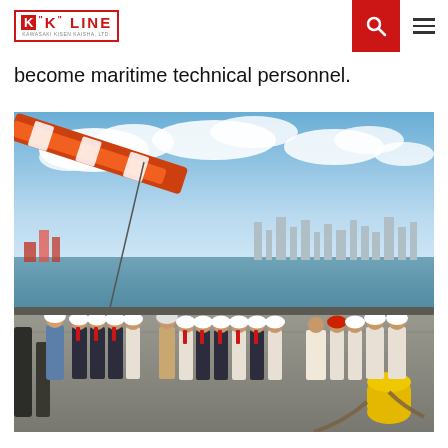K LINE - KAWASAKI KISEN KAISHA, LTD.
become maritime technical personnel.
[Figure (photo): Group of people wearing white hard hats standing on a ship deck, with a red crane arm visible in the upper left, harbor water and city skyline in the background under blue cloudy sky.]